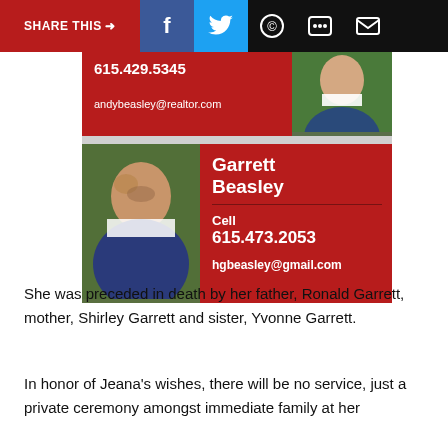SHARE THIS →  [Facebook] [Twitter] [WhatsApp] [Message] [Email]
[Figure (photo): Real estate agent contact card for Garrett Beasley showing phone 615.473.2053 and email hgbeasley@gmail.com, with photo of man in blue jacket smiling outdoors. Above it, partial card for Andy Beasley with phone 615.429.5345 and email andybeasley@realtor.com.]
She was preceded in death by her father, Ronald Garrett, mother, Shirley Garrett and sister, Yvonne Garrett.
In honor of Jeana's wishes, there will be no service, just a private ceremony amongst immediate family at her